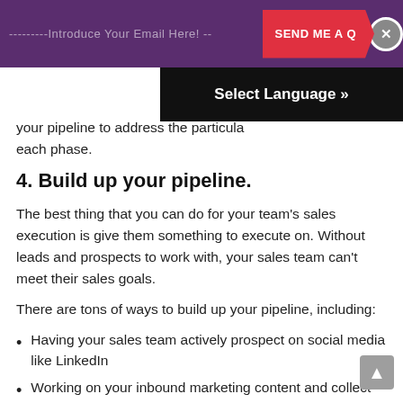---------Introduce Your Email Here! -- SEND ME A Q
your pipeline to address the particular needs of each phase.
4. Build up your pipeline.
The best thing that you can do for your team's sales execution is give them something to execute on. Without leads and prospects to work with, your sales team can't meet their sales goals.
There are tons of ways to build up your pipeline, including:
Having your sales team actively prospect on social media like LinkedIn
Working on your inbound marketing content and collect leads via your visitors
Adding tools like Justuno to your stack to allow your content